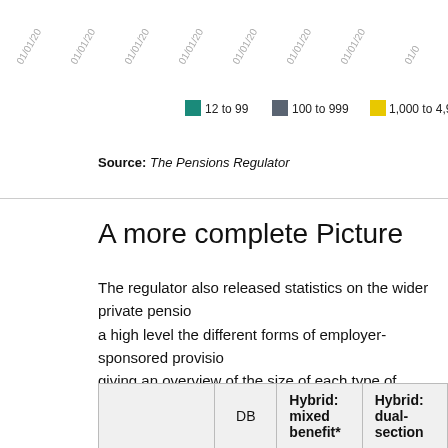[Figure (other): Partial top of a chart showing rotated date labels (01/01/20...) along x-axis and a legend row with color swatches: teal=12 to 99, dark grey=100 to 999, yellow=1,000 to 4,999, and a partially visible purple swatch]
Source: The Pensions Regulator
A more complete Picture
The regulator also released statistics on the wider private pension sector, comparing at a high level the different forms of employer-sponsored provision. The table below summarises this, giving an overview of the size of each type of provision.
|  | DB | Hybrid: mixed benefit* | Hybrid: dual-section |
| --- | --- | --- | --- |